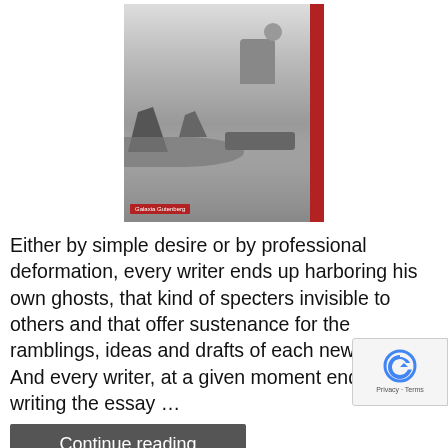[Figure (photo): Book cover in black and white showing a person sitting on what appears to be a large marine animal surrounded by shark fins in the ocean. A red vertical stripe runs along the right edge of the cover. A red publisher label reading 'Galaxia Gutenberg' appears at the bottom left.]
Either by simple desire or by professional deformation, every writer ends up harboring his own ghosts, that kind of specters invisible to others and that offer sustenance for the ramblings, ideas and drafts of each new book. And every writer, at a given moment ends up writing the essay ...
Continue reading